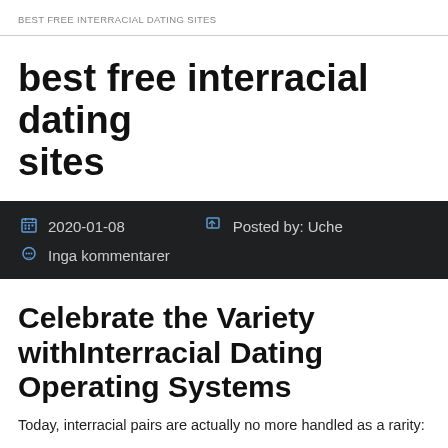BEST FREE INTERRACIAL DATING SITES
best free interracial dating sites
2020-01-08   Posted by: Uche   Inga kommentarer
Celebrate the Variety withInterracial Dating Operating Systems
Today, interracial pairs are actually no more handled as a rarity: